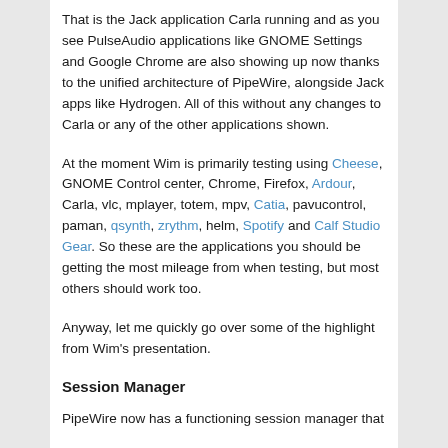That is the Jack application Carla running and as you see PulseAudio applications like GNOME Settings and Google Chrome are also showing up now thanks to the unified architecture of PipeWire, alongside Jack apps like Hydrogen. All of this without any changes to Carla or any of the other applications shown.
At the moment Wim is primarily testing using Cheese, GNOME Control center, Chrome, Firefox, Ardour, Carla, vlc, mplayer, totem, mpv, Catia, pavucontrol, paman, qsynth, zrythm, helm, Spotify and Calf Studio Gear. So these are the applications you should be getting the most mileage from when testing, but most others should work too.
Anyway, let me quickly go over some of the highlight from Wim's presentation.
Session Manager
PipeWire now has a functioning session manager that